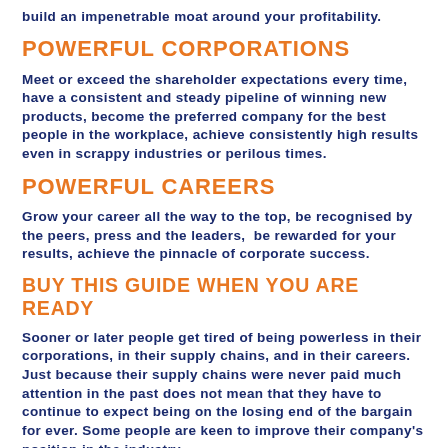build an impenetrable moat around your profitability.
POWERFUL CORPORATIONS
Meet or exceed the shareholder expectations every time, have a consistent and steady pipeline of winning new products, become the preferred company for the best people in the workplace, achieve consistently high results even in scrappy industries or perilous times.
POWERFUL CAREERS
Grow your career all the way to the top, be recognised by the peers, press and the leaders,  be rewarded for your results, achieve the pinnacle of corporate success.
BUY THIS GUIDE WHEN YOU ARE READY
Sooner or later people get tired of being powerless in their corporations, in their supply chains, and in their careers. Just because their supply chains were never paid much attention in the past does not mean that they have to continue to expect being on the losing end of the bargain for ever. Some people are keen to improve their company's position in the industry,